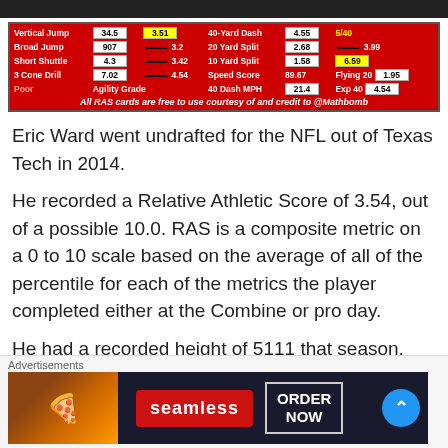[Figure (table-as-image): RAS (Relative Athletic Score) card for Eric Ward showing athletic combine metrics including Broad Jump (907, 3.2), Short Shuttle (4.3, 3.42), 3 Cone Drill (7.02, 4.54), 20 Yard Split (2.68, 3.99), 10 Yard Split (1.58, 6.59), Speed Score 89.67, Flying 20 1.95, 40 Dash MPH 21.4, Exp 40 4.54. Footer: All RAS cards are free to use courtesy of and credit to @Mathbomb]
Eric Ward went undrafted for the NFL out of Texas Tech in 2014.
He recorded a Relative Athletic Score of 3.54, out of a possible 10.0. RAS is a composite metric on a 0 to 10 scale based on the average of all of the percentile for each of the metrics the player completed either at the Combine or pro day.
He had a recorded height of 5111 that season, recorded as
Advertisements